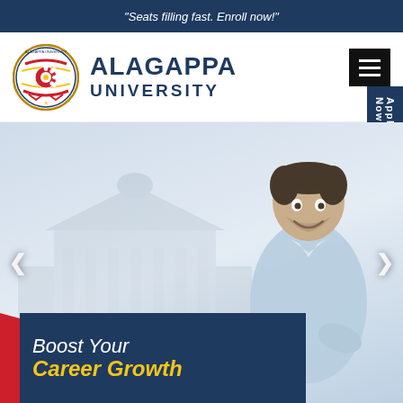"Seats filling fast. Enroll now!"
[Figure (logo): Alagappa University logo with crest and text 'ALAGAPPA UNIVERSITY']
[Figure (photo): University website hero section showing a smiling young man in a light blue shirt with arms crossed, faint university building in background, with 'Boost Your Career Growth' text overlay on dark blue and red banner at bottom, carousel navigation arrows on sides]